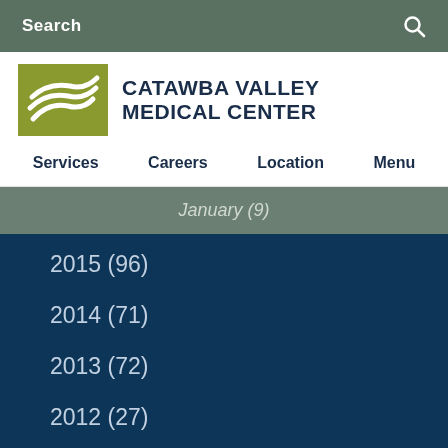Search
[Figure (logo): Catawba Valley Medical Center logo with green wave graphic and bold text]
Services  Careers  Location  Menu
January (9)
2015 (96)
2014 (71)
2013 (72)
2012 (27)
2011 (38)